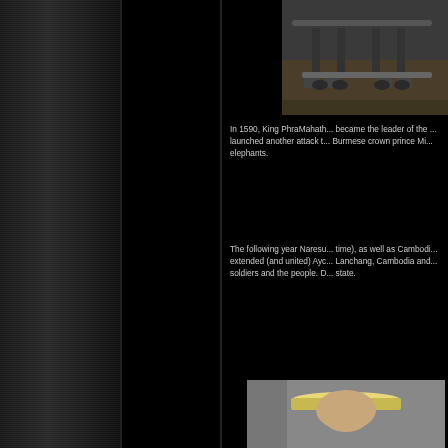[Figure (photo): Historical photograph showing what appears to be cannons or artillery equipment on wheels outdoors]
In 1590, King PhraMahath... became the leader of the ... launched another attack t... Burmese crown prince Mi... elephants.
The following year Naresu... time), as well as Cambodi... extended (and united) Ayc... Lanchang, Cambodia and... soldiers and the people. D... state.
[Figure (photo): Person wearing a white wide-brimmed hat, appears to be at some kind of gathering]